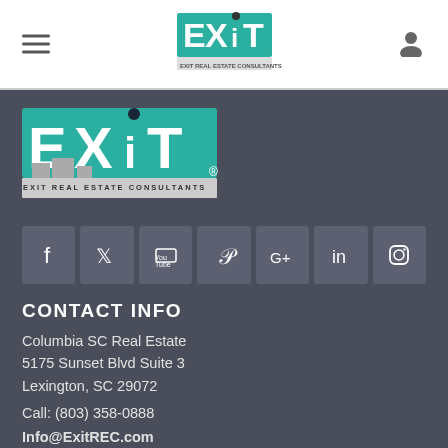[Figure (logo): EXIT Real Estate Consultants logo in navigation bar]
[Figure (logo): EXIT Real Estate Consultants large logo in footer area]
[Figure (infographic): Social media icons row: Facebook, Twitter, YouTube, Pinterest, Google+, LinkedIn, Instagram]
CONTACT INFO
Columbia SC Real Estate
5175 Sunset Blvd Suite 3
Lexington, SC 29072
Call: (803) 358-0888
Info@ExitREC.com
QUICK LINKS